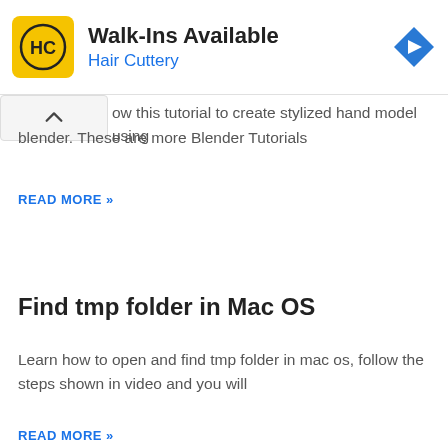[Figure (logo): Hair Cuttery advertisement banner with yellow square logo showing HC monogram, title Walk-Ins Available, subtitle Hair Cuttery, and blue diamond arrow icon]
ow this tutorial to create stylized hand model using blender. These are more Blender Tutorials
READ MORE »
Find tmp folder in Mac OS
Learn how to open and find tmp folder in mac os, follow the steps shown in video and you will
READ MORE »